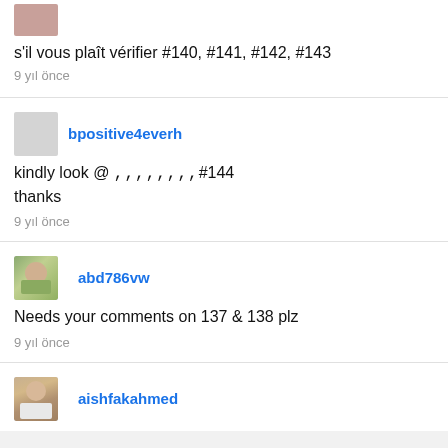s'il vous plaît vérifier #140, #141, #142, #143
9 yıl önce
bpositive4everh
kindly look @ ,,,,,,,,#144
thanks
9 yıl önce
abd786vw
Needs your comments on 137 & 138 plz
9 yıl önce
aishfakahmed